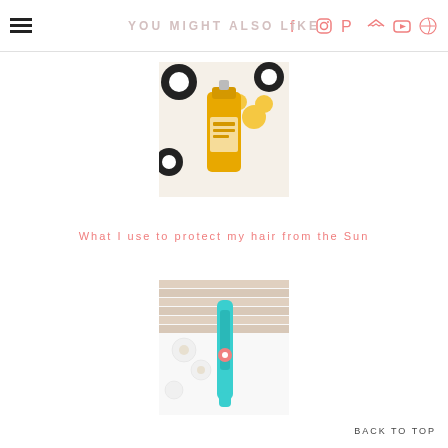YOU MIGHT ALSO LIKE
[Figure (photo): A yellow hair product bottle/spray with floral background in black, white and yellow tones]
What I use to protect my hair from the Sun
[Figure (photo): A teal/turquoise hair styling tool on a white and wood background with white flowers]
BACK TO TOP